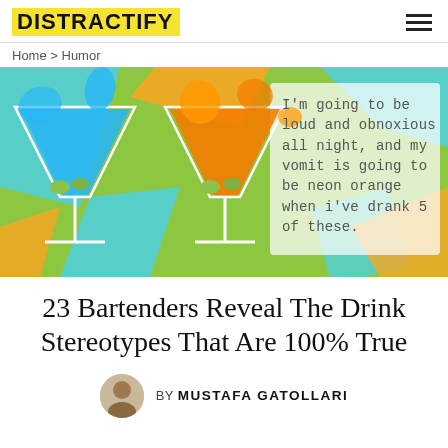DISTRACTIFY
Home > Humor
[Figure (illustration): Colorful graphic with two martini glasses (one blue, one orange) splashing on a bright green background with cyan and orange geometric shapes. Text overlay reads: I'm going to be loud and obnoxious all night, and my vomit is going to be neon orange when i've drank 5 of these.]
23 Bartenders Reveal The Drink Stereotypes That Are 100% True
BY MUSTAFA GATOLLARI